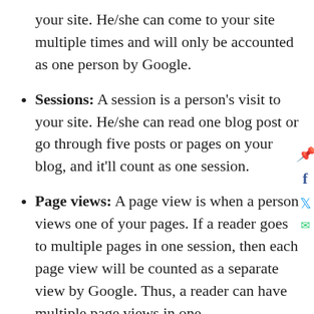your site. He/she can come to your site multiple times and will only be accounted as one person by Google.
Sessions: A session is a person's visit to your site. He/she can read one blog post or go through five posts or pages on your blog, and it'll count as one session.
Page views: A page view is when a person views one of your pages. If a reader goes to multiple pages in one session, then each page view will be counted as a separate view by Google. Thus, a reader can have multiple page views in one